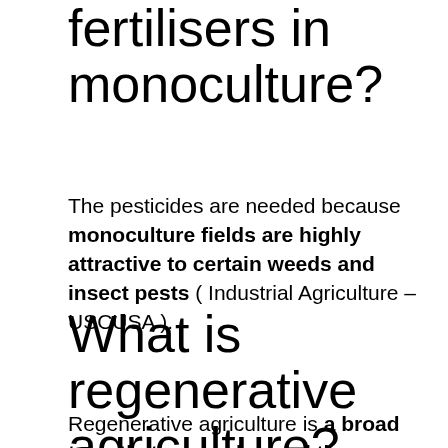fertilisers in monoculture?
The pesticides are needed because monoculture fields are highly attractive to certain weeds and insect pests ( Industrial Agriculture – USCUSA ).
What is regenerative agriculture?
Regenerative agriculture is a broad term that moves beyond the concept of sustainability. It represents a move away